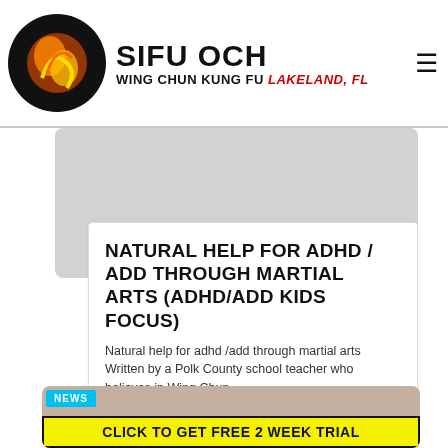SIFU OCH WING CHUN KUNG FU Lakeland, FL
[Figure (photo): Gray placeholder image area for article]
NATURAL HELP FOR ADHD / ADD THROUGH MARTIAL ARTS (ADHD/ADD KIDS FOCUS)
Natural help for adhd /add through martial arts Written by a Polk County school teacher who believes in Wing Chun...
READ MORE
[Figure (photo): NEWS badge and bottom section with CLICK TO GET FREE 2 WEEK TRIAL banner]